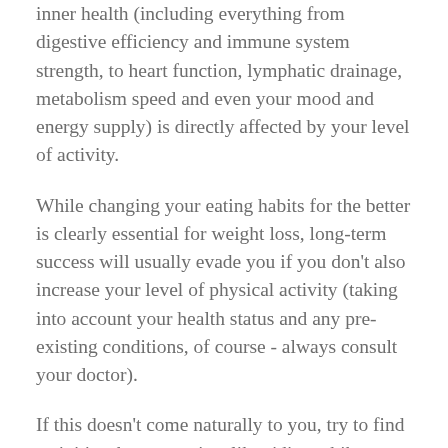inner health (including everything from digestive efficiency and immune system strength, to heart function, lymphatic drainage, metabolism speed and even your mood and energy supply) is directly affected by your level of activity.
While changing your eating habits for the better is clearly essential for weight loss, long-term success will usually evade you if you don't also increase your level of physical activity (taking into account your health status and any pre-existing conditions, of course - always consult your doctor).
If this doesn't come naturally to you, try to find activities that you enjoy, like riding a bike, swimming or playing in the park with your kids, and make them a part of your daily routine. It's never going to work if you dread the activity as "exercise".
Also try making some smaller changes, like parking your car further from the supermarket or taking the stairs instead of the lift. These will all burn additional calories and help to cleanse and detox your body, by getting your lymphatic